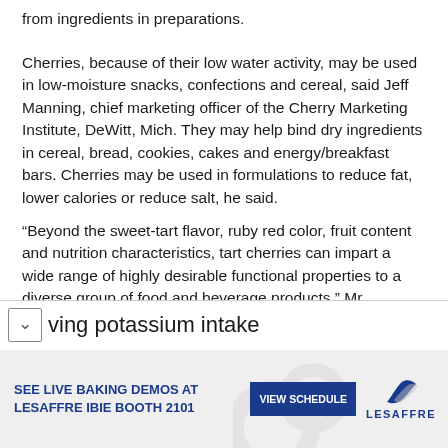from ingredients in preparations.
Cherries, because of their low water activity, may be used in low-moisture snacks, confections and cereal, said Jeff Manning, chief marketing officer of the Cherry Marketing Institute, DeWitt, Mich. They may help bind dry ingredients in cereal, bread, cookies, cakes and energy/breakfast bars. Cherries may be used in formulations to reduce fat, lower calories or reduce salt, he said.
“Beyond the sweet-tart flavor, ruby red color, fruit content and nutrition characteristics, tart cherries can impart a wide range of highly desirable functional properties to a diverse group of food and beverage products,” Mr. Manning said.
ving potassium intake
[Figure (other): Advertisement banner for Lesaffre IBIE Booth 2101 with text SEE LIVE BAKING DEMOS AT LESAFFRE IBIE BOOTH 2101 and a VIEW SCHEDULE button and Lesaffre logo.]